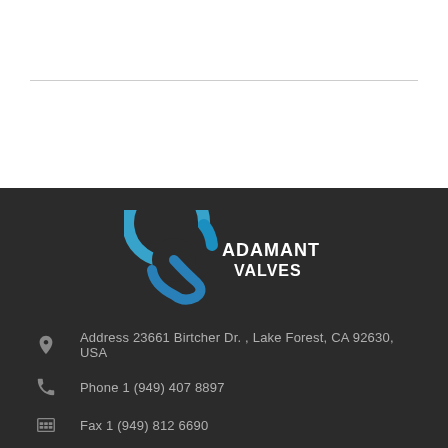[Figure (logo): Adamant Valves logo with blue circular swirl graphic and white text 'ADAMANT VALVES' on dark background]
Address  23661 Birtcher Dr. , Lake Forest, CA 92630, USA
Phone 1 (949) 407 8897
Fax 1 (949) 812 6690